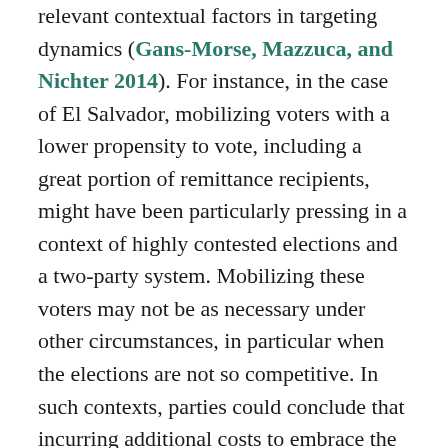relevant contextual factors in targeting dynamics (Gans-Morse, Mazzuca, and Nichter 2014). For instance, in the case of El Salvador, mobilizing voters with a lower propensity to vote, including a great portion of remittance recipients, might have been particularly pressing in a context of highly contested elections and a two-party system. Mobilizing these voters may not be as necessary under other circumstances, in particular when the elections are not so competitive. In such contexts, parties could conclude that incurring additional costs to embrace the opportunity to mobilize new voters might not accrue decisive benefits. Similarly, in multiparty settings the right's effort to court remittance recipients may be constrained by the presence of other competing interests that can elect to the